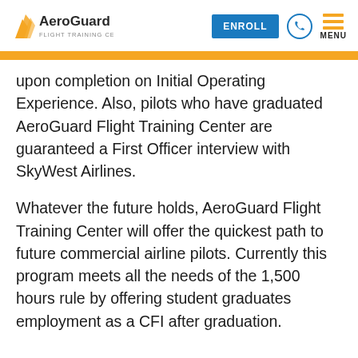AeroGuard Flight Training Center — ENROLL | MENU
upon completion on Initial Operating Experience. Also, pilots who have graduated AeroGuard Flight Training Center are guaranteed a First Officer interview with SkyWest Airlines.
Whatever the future holds, AeroGuard Flight Training Center will offer the quickest path to future commercial airline pilots. Currently this program meets all the needs of the 1,500 hours rule by offering student graduates employment as a CFI after graduation.